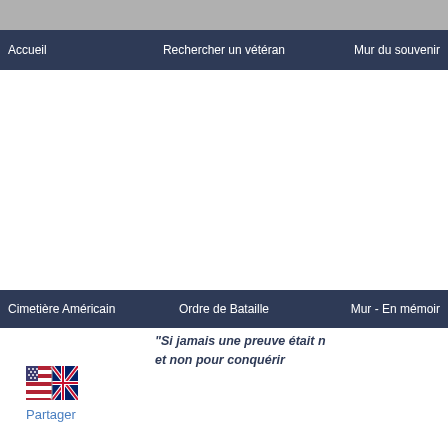Accueil   Rechercher un vétéran   Mur du souvenir
Cimetière Américain   Ordre de Bataille   Mur - En mémoir
"Si jamais une preuve était n
et non pour conquérir
[Figure (illustration): US and UK flags combined icon]
Partager
LE CIMETIERE AMERICAIN DE NORMANDI
BURT BUOL